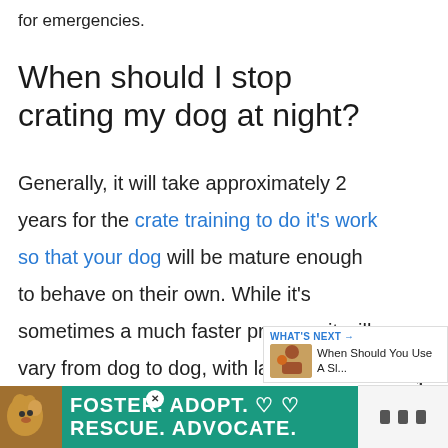for emergencies.
When should I stop crating my dog at night?
Generally, it will take approximately 2 years for the crate training to do it's work so that your dog will be mature enough to behave on their own. While it's sometimes a much faster process, it will vary from dog to dog, with larger dogs often taking more time.
[Figure (infographic): WHAT'S NEXT arrow label with thumbnail image showing dog and text: When Should You Use A Sl...]
[Figure (infographic): Advertisement banner: FOSTER. ADOPT. heart symbols. RESCUE. ADVOCATE. on teal background with dog image]